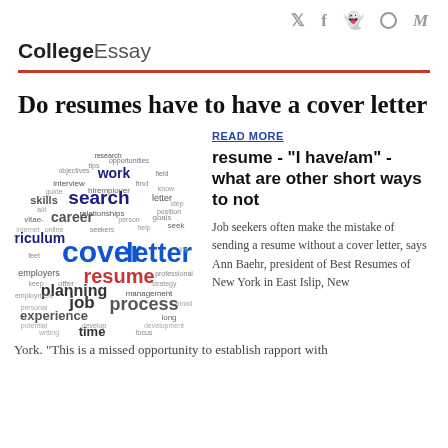𝕏 f 👻 ○ M
CollegeEssay
Do resumes have to have a cover letter
[Figure (illustration): Word cloud in the shape of a circle featuring career-related terms such as 'cover letter', 'resume', 'career', 'work', 'search', 'skills', 'curriculum', 'experience', 'planning', 'job', 'process', 'time', 'goals', 'interview', 'vitae', 'employers', 'management', and many more. 'cover letter' is prominently displayed in large blue text.]
READ MORE
resume - "I have/am" - what are other short ways to not
Job seekers often make the mistake of sending a resume without a cover letter, says Ann Baehr, president of Best Resumes of New York in East Islip, New York. "This is a missed opportunity to establish rapport with